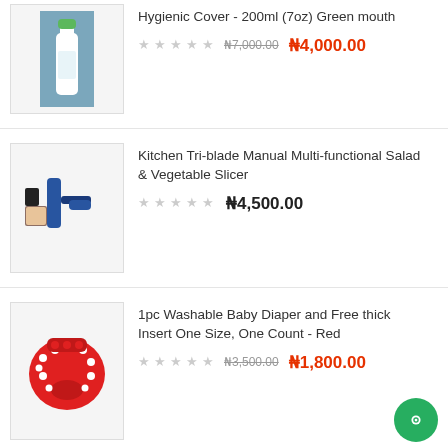[Figure (photo): Baby bottle with green cap, white body, on blue-grey background]
Hygienic Cover - 200ml (7oz) Green mouth
★★★★★ ₦7,000.00 ₦4,000.00
[Figure (photo): Kitchen Tri-blade Manual Multi-functional Salad & Vegetable Slicer product image with blue components]
Kitchen Tri-blade Manual Multi-functional Salad & Vegetable Slicer
★★★★★ ₦4,500.00
[Figure (photo): Red washable baby diaper with white dots]
1pc Washable Baby Diaper and Free thick Insert One Size, One Count - Red
★★★★★ ₦3,500.00 ₦1,800.00
[Figure (photo): Children jeans product image (partially visible)]
Children Jeans Super Dress
₦7,500.00 ₦6,000.00